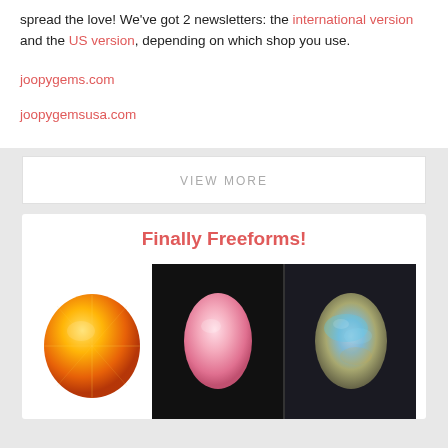spread the love! We've got 2 newsletters: the international version and the US version, depending on which shop you use.
joopygems.com
joopygemsusa.com
VIEW MORE
Finally Freeforms!
[Figure (photo): Three gemstones: a yellow-orange faceted gem on white background, a pink oval cabochon on black background, and a labradorite cabochon with blue flash on dark background.]